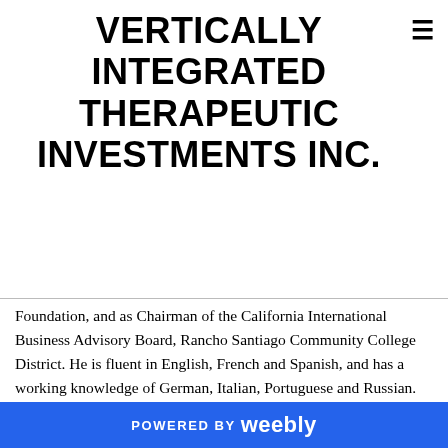VERTICALLY INTEGRATED THERAPEUTIC INVESTMENTS INC.
Foundation, and as Chairman of the California International Business Advisory Board, Rancho Santiago Community College District. He is fluent in English, French and Spanish, and has a working knowledge of German, Italian, Portuguese and Russian.
ALG AFFILIATED OFFICE
IN SHENZHEN, CHINA OUR CHINA OFFICE: Room 3502 Golden Central Tower Building No. 3037, Jintian Road Futian Business District
Shenzhen, P.R.C. 518040
Tel: (01.1) (86) 755-3300 1500
Fax: (011) (86) 755-3300 4544
POWERED BY weebly